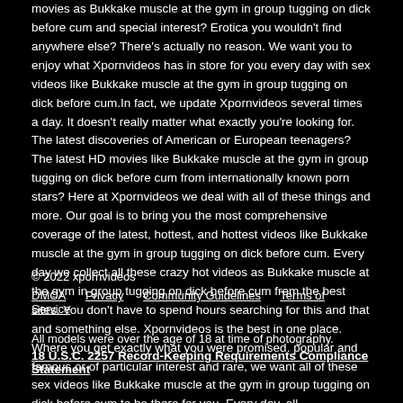movies as Bukkake muscle at the gym in group tugging on dick before cum and special interest? Erotica you wouldn't find anywhere else? There's actually no reason. We want you to enjoy what Xpornvideos has in store for you every day with sex videos like Bukkake muscle at the gym in group tugging on dick before cum.In fact, we update Xpornvideos several times a day. It doesn't really matter what exactly you're looking for. The latest discoveries of American or European teenagers? The latest HD movies like Bukkake muscle at the gym in group tugging on dick before cum from internationally known porn stars? Here at Xpornvideos we deal with all of these things and more. Our goal is to bring you the most comprehensive coverage of the latest, hottest, and hottest videos like Bukkake muscle at the gym in group tugging on dick before cum. Every day we collect all these crazy hot videos as Bukkake muscle at the gym in group tugging on dick before cum from the best sites. You don't have to spend hours searching for this and that and something else. Xpornvideos is the best in one place. Where you get exactly what you were promised. popular and famous or of particular interest and rare, we want all of these sex videos like Bukkake muscle at the gym in group tugging on dick before cum to be there for you. Every day, all day.Bookmark us for more fun. We hope it will be soon! Start exploring Xpornvideos now, enjoy all our goodies and let us know if you have anything to share.
© 2022 xpornvideos
DMCA  Privacy  Community Guidelines  Terms of Service
All models were over the age of 18 at time of photography.
18 U.S.C. 2257 Record-Keeping Requirements Compliance Statement